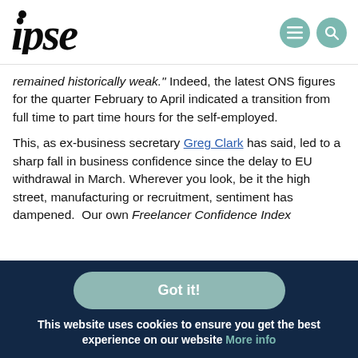ipse
remained historically weak." Indeed, the latest ONS figures for the quarter February to April indicated a transition from full time to part time hours for the self-employed.
This, as ex-business secretary Greg Clark has said, led to a sharp fall in business confidence since the delay to EU withdrawal in March. Wherever you look, be it the high street, manufacturing or recruitment, sentiment has dampened.  Our own Freelancer Confidence Index
Got it!
This website uses cookies to ensure you get the best experience on our website More info